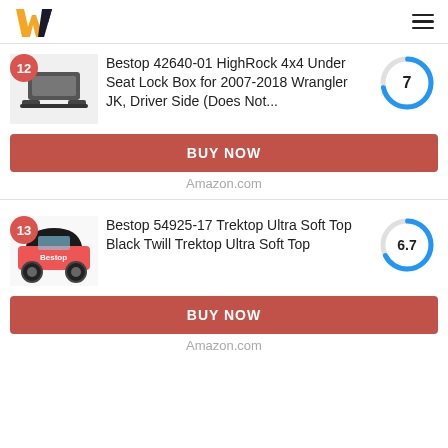W (logo) / hamburger menu
12 Bestop 42640-01 HighRock 4x4 Under Seat Lock Box for 2007-2018 Wrangler JK, Driver Side (Does Not... Score: 7
BUY NOW
Amazon.com
13 Bestop 54925-17 Trektop Ultra Soft Top Black Twill Trektop Ultra Soft Top Score: 6.7
BUY NOW
Amazon.com